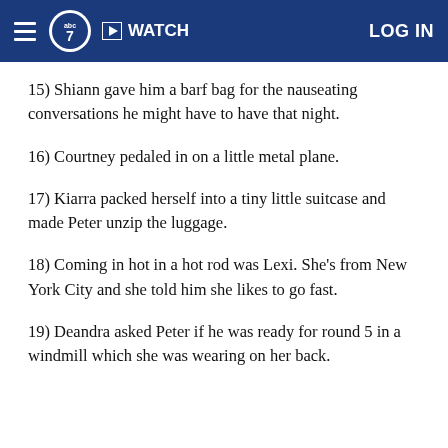abc7 WATCH LOG IN
15) Shiann gave him a barf bag for the nauseating conversations he might have to have that night.
16) Courtney pedaled in on a little metal plane.
17) Kiarra packed herself into a tiny little suitcase and made Peter unzip the luggage.
18) Coming in hot in a hot rod was Lexi. She's from New York City and she told him she likes to go fast.
19) Deandra asked Peter if he was ready for round 5 in a windmill which she was wearing on her back.